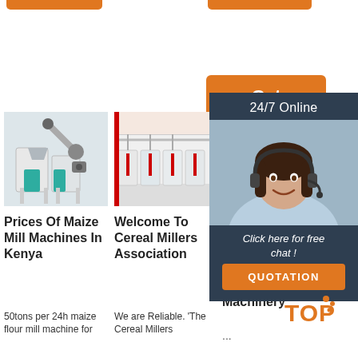[Figure (other): Orange 'Get Price' button]
[Figure (other): Dark panel with '24/7 Online' label, woman with headset agent photo, 'Click here for free chat!' text, and orange QUOTATION button]
[Figure (photo): Maize mill machine photo]
Prices Of Maize Mill Machines In Kenya
50tons per 24h maize flour mill machine for
[Figure (photo): Cereal millers interior photo]
Welcome To Cereal Millers Association
We are Reliable. 'The Cereal Millers
C... M... Nairobi Central Farm Machinery
...
[Figure (logo): TOP logo with orange dot decoration]